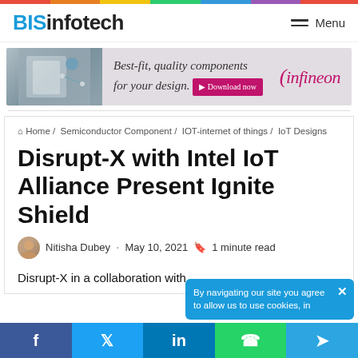BISinfotech — Menu
[Figure (infographic): Infineon advertisement banner: Best-fit, quality components for your design. Download now.]
Home / Semiconductor Component / IOT-internet of things / IoT Designs
Disrupt-X with Intel IoT Alliance Present Ignite Shield
Nitisha Dubey · May 10, 2021 · 1 minute read
Disrupt-X in a collaboration with
By navigating our site you agree to allow us to use cookies, in